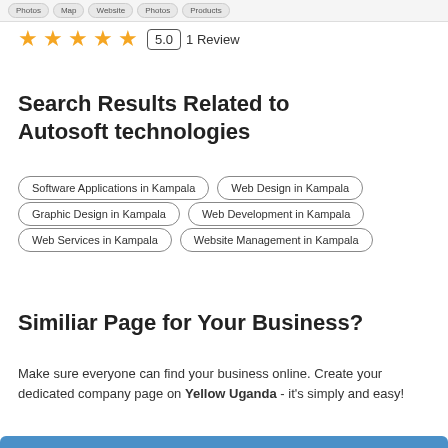Photos  Map  Website  Photos  Products
5.0  1 Review
Search Results Related to Autosoft technologies
Software Applications in Kampala
Web Design in Kampala
Graphic Design in Kampala
Web Development in Kampala
Web Services in Kampala
Website Management in Kampala
Similiar Page for Your Business?
Make sure everyone can find your business online. Create your dedicated company page on Yellow Uganda - it's simply and easy!